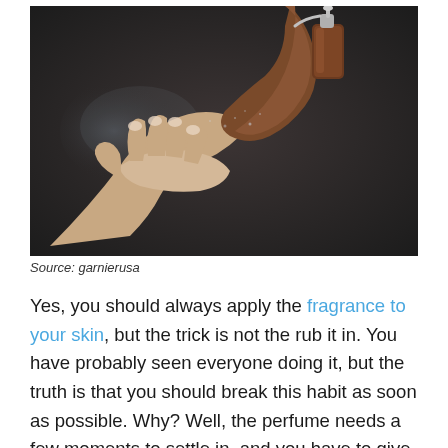[Figure (photo): A hand spraying perfume/fragrance onto an outstretched open palm, against a dark background. The spraying hand holds a brown glass perfume bottle with a silver top, and the receiving hand is open with manicured nails.]
Source: garnierusa
Yes, you should always apply the fragrance to your skin, but the trick is not the rub it in. You have probably seen everyone doing it, but the truth is that you should break this habit as soon as possible. Why? Well, the perfume needs a few moments to settle in, and you have to give your skin a chance to absorb it. If you rub your wrists immediately, which is something almost everyone does, some particles of it will evaporate quickly.